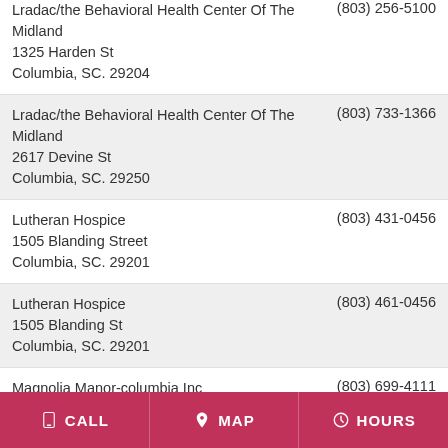| Name / Address | Phone |
| --- | --- |
| Lradac/the Behavioral Health Center Of The Midland
1325 Harden St
Columbia, SC. 29204 | (803) 256-5100 |
| Lradac/the Behavioral Health Center Of The Midland
2617 Devine St
Columbia, SC. 29250 | (803) 733-1366 |
| Lutheran Hospice
1505 Blanding Street
Columbia, SC. 29201 | (803) 431-0456 |
| Lutheran Hospice
1505 Blanding St
Columbia, SC. 29201 | (803) 461-0456 |
| Magnolia Manor-columbia Inc
1007 N Kings St
Columbia, SC. 29223 | (803) 699-4111 |
| Mahogany Tree Inc | (803) 786-7558 |
CALL   MAP   HOURS